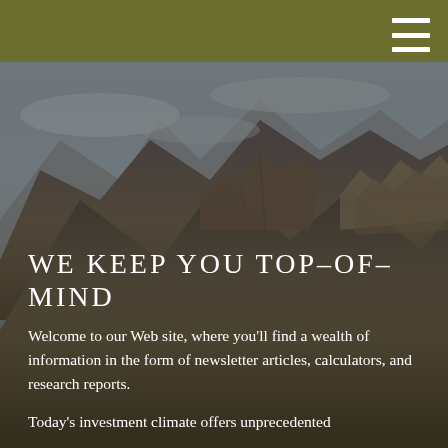[Figure (photo): Mountain landscape with rocky peaks, overcast sky, with olive green navigation header bar overlaid at top and text content overlaid at bottom]
We keep you top-of-mind
Welcome to our Web site, where you'll find a wealth of information in the form of newsletter articles, calculators, and research reports.
Today's investment climate offers unprecedented